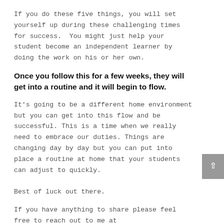If you do these five things, you will set yourself up during these challenging times for success.  You might just help your student become an independent learner by doing the work on his or her own.
Once you follow this for a few weeks, they will get into a routine and it will begin to flow.
It's going to be a different home environment but you can get into this flow and be successful. This is a time when we really need to embrace our duties. Things are changing day by day but you can put into place a routine at home that your students can adjust to quickly.
Best of luck out there.
If you have anything to share please feel free to reach out to me at www.rozcoaching.com  or www.